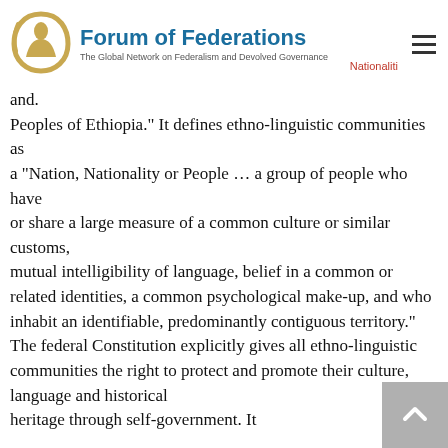Forum of Federations — The Global Network on Federalism and Devolved Governance
and. Peoples of Ethiopia." It defines ethno-linguistic communities as a "Nation, Nationality or People … a group of people who have or share a large measure of a common culture or similar customs, mutual intelligibility of language, belief in a common or related identities, a common psychological make-up, and who inhabit an identifiable, predominantly contiguous territory." The federal Constitution explicitly gives all ethno-linguistic communities the right to protect and promote their culture, language and historical heritage through self-government. It